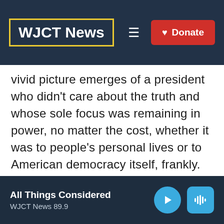[Figure (logo): WJCT News logo in white text on dark navy background with yellow border, hamburger menu icon, and red Donate button]
vivid picture emerges of a president who didn't care about the truth and whose sole focus was remaining in power, no matter the cost, whether it was to people's personal lives or to American democracy itself, frankly. As for what's coming up, the committee has footage to go through from a British documentary filmmaker who interviewed Trump before and after January 6. The committee may also ask to talk to Ginni
All Things Considered
WJCT News 89.9